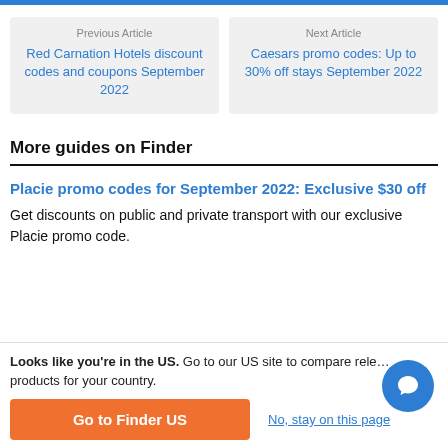Previous Article
Red Carnation Hotels discount codes and coupons September 2022
Next Article
Caesars promo codes: Up to 30% off stays September 2022
More guides on Finder
Placie promo codes for September 2022: Exclusive $30 off
Get discounts on public and private transport with our exclusive Placie promo code.
Looks like you're in the US. Go to our US site to compare relevant products for your country.
Go to Finder US
No, stay on this page